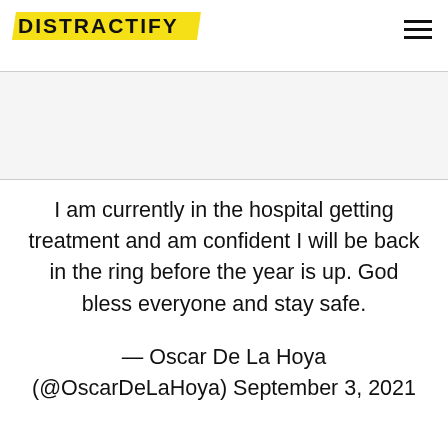DISTRACTIFY
I am currently in the hospital getting treatment and am confident I will be back in the ring before the year is up. God bless everyone and stay safe.

— Oscar De La Hoya (@OscarDeLaHoya) September 3, 2021